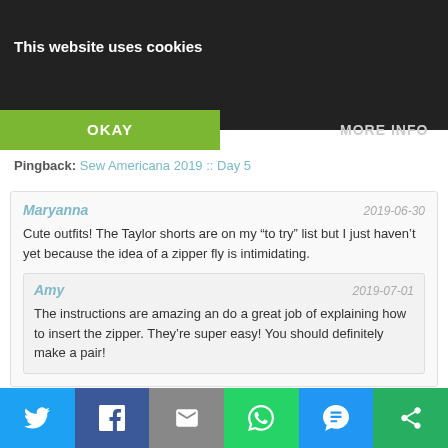This website uses cookies
OKAY
MORE INFO
Pingback: Sew Americana 2019 :: Day 5
Maryanna — 2019-06-30
Cute outfits! The Taylor shorts are on my “to try” list but I just haven’t yet because the idea of a zipper fly is intimidating.
Amy — 2019-07-01
The instructions are amazing an do a great job of explaining how to insert the zipper. They’re super easy! You should definitely make a pair!
auschick — 2019-06-30
I love your makes! Looks like we both got the stripes and eyelet